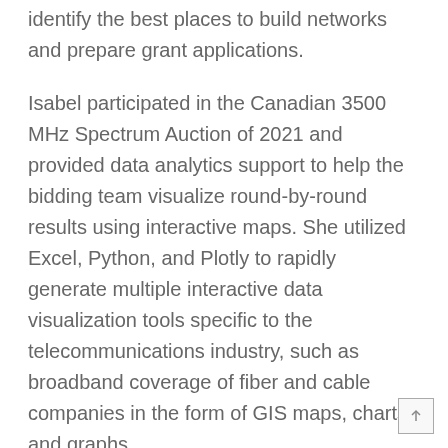identify the best places to build networks and prepare grant applications.
Isabel participated in the Canadian 3500 MHz Spectrum Auction of 2021 and provided data analytics support to help the bidding team visualize round-by-round results using interactive maps. She utilized Excel, Python, and Plotly to rapidly generate multiple interactive data visualization tools specific to the telecommunications industry, such as broadband coverage of fiber and cable companies in the form of GIS maps, charts, and graphs.
She began as an intern with Wireless 20/20, coordinating with the team of data analysts to collect location data and map them on various GIS tools such as Google Earth and QGIS. She utilized Excel, Plotly, and Python routines to generate interactive data visualization dashboards and